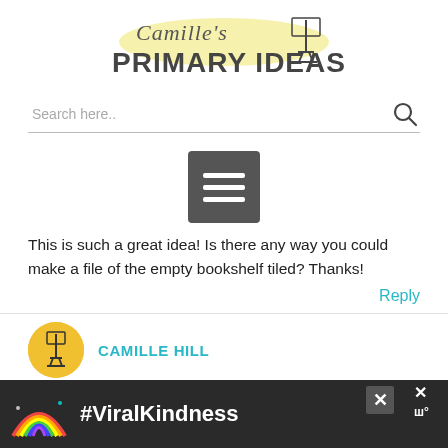[Figure (logo): Camille's Primary Ideas logo with script text 'Camille's' above bold sans-serif 'PRIMARY IDEAS' with a music stand icon and yellow highlight]
[Figure (screenshot): Search bar with placeholder text 'Search here..' and magnifying glass icon on right]
[Figure (screenshot): Dark gray hamburger/menu button with three white lines]
This is such a great idea! Is there any way you could make a file of the empty bookshelf tiled? Thanks!
Reply
CAMILLE HILL
[Figure (screenshot): Advertisement banner at bottom showing a rainbow and #ViralKindness text with close buttons]